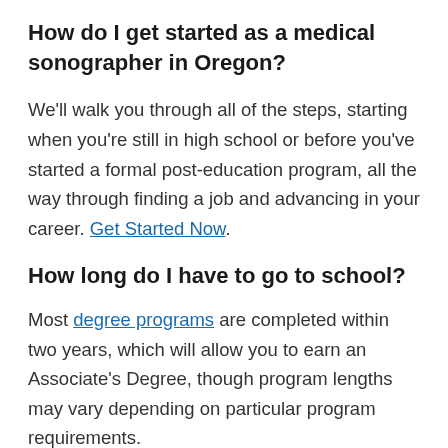How do I get started as a medical sonographer in Oregon?
We’ll walk you through all of the steps, starting when you’re still in high school or before you’ve started a formal post-education program, all the way through finding a job and advancing in your career. Get Started Now.
How long do I have to go to school?
Most degree programs are completed within two years, which will allow you to earn an Associate’s Degree, though program lengths may vary depending on particular program requirements.